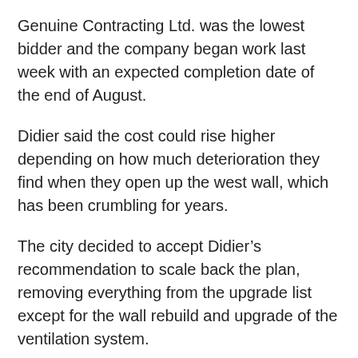Genuine Contracting Ltd. was the lowest bidder and the company began work last week with an expected completion date of the end of August.
Didier said the cost could rise higher depending on how much deterioration they find when they open up the west wall, which has been crumbling for years.
The city decided to accept Didier's recommendation to scale back the plan, removing everything from the upgrade list except for the wall rebuild and upgrade of the ventilation system.
“It’s a matter of relocating the funds we have set aside for the project into the wall and ventilation,” Didier said.
“Sad to see that the painting isn’t being done,” said